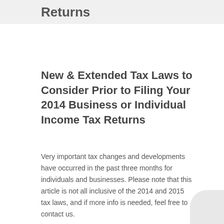Returns
New & Extended Tax Laws to Consider Prior to Filing Your 2014 Business or Individual Income Tax Returns
Very important tax changes and developments have occurred in the past three months for individuals and businesses.  Please note that this article is not all inclusive of the 2014 and 2015 tax laws, and if more info is needed, feel free to contact us.
Wouldn't it be nice if tax laws were simple? Simplicity is a good thing, however, legislation